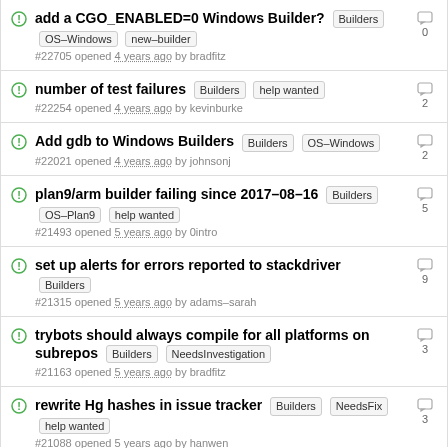add a CGO_ENABLED=0 Windows Builder? Builders OS-Windows new-builder #22705 opened 4 years ago by bradfitz
number of test failures Builders help wanted #22254 opened 4 years ago by kevinburke
Add gdb to Windows Builders Builders OS-Windows #22021 opened 4 years ago by johnsonj
plan9/arm builder failing since 2017-08-16 Builders OS-Plan9 help wanted #21493 opened 5 years ago by 0intro
set up alerts for errors reported to stackdriver Builders #21315 opened 5 years ago by adams-sarah
trybots should always compile for all platforms on subrepos Builders NeedsInvestigation #21163 opened 5 years ago by bradfitz
rewrite Hg hashes in issue tracker Builders NeedsFix help wanted #21088 opened 5 years ago by hanwen